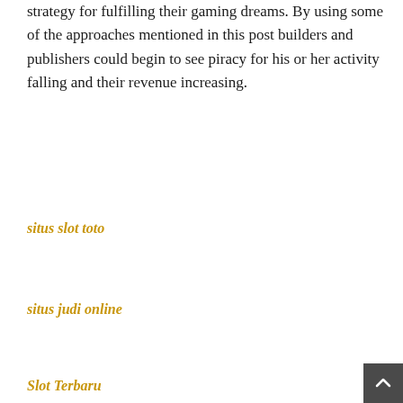strategy for fulfilling their gaming dreams. By using some of the approaches mentioned in this post builders and publishers could begin to see piracy for his or her activity falling and their revenue increasing.
situs slot toto
situs judi online
Slot Terbaru